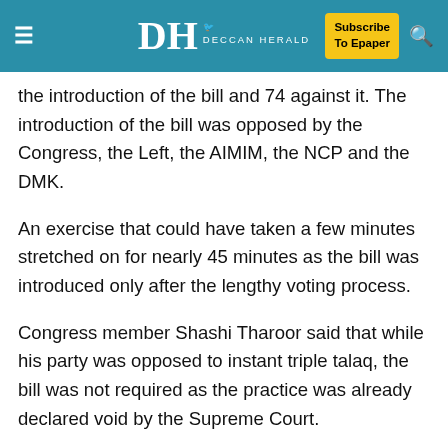Deccan Herald — Subscribe To Epaper
the introduction of the bill and 74 against it. The introduction of the bill was opposed by the Congress, the Left, the AIMIM, the NCP and the DMK.
An exercise that could have taken a few minutes stretched on for nearly 45 minutes as the bill was introduced only after the lengthy voting process.
Congress member Shashi Tharoor said that while his party was opposed to instant triple talaq, the bill was not required as the practice was already declared void by the Supreme Court.
“We are not defending triple talaq. We are opposing a law